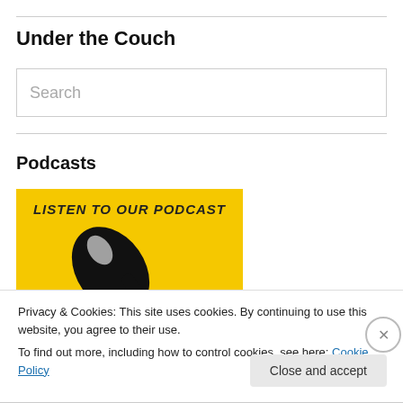Under the Couch
[Figure (other): Search input box with placeholder text 'Search']
Podcasts
[Figure (illustration): Yellow banner image with text 'LISTEN TO OUR PODCAST' and a microphone graphic in black]
Privacy & Cookies: This site uses cookies. By continuing to use this website, you agree to their use.
To find out more, including how to control cookies, see here: Cookie Policy
Close and accept